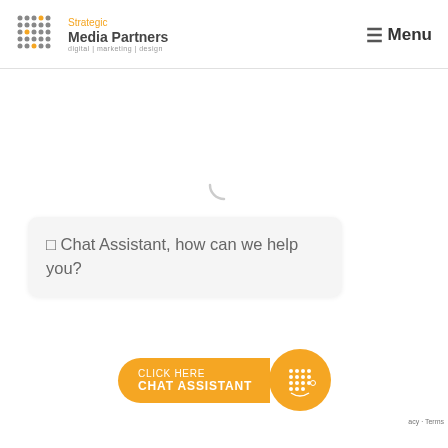[Figure (logo): Strategic Media Partners logo with dot-grid icon, orange and dark grey text, tagline 'digital | marketing | design']
≡ Menu
[Figure (other): Loading spinner arc (thin grey semicircle)]
□ Chat Assistant, how can we help you?
[Figure (other): Orange 'CLICK HERE / CHAT ASSISTANT' button with dot-grid chat icon circle on the right]